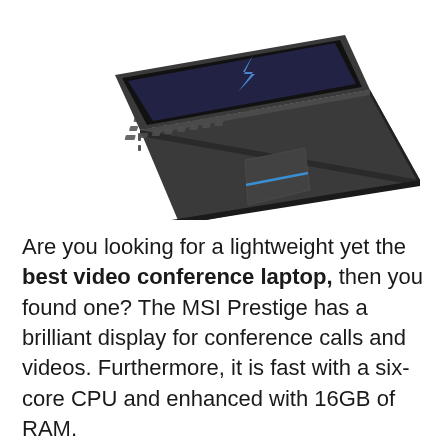[Figure (photo): Partial top view of an MSI Prestige laptop showing the keyboard, trackpad, and open screen with a lightning bolt icon visible, photographed from a slightly elevated angle against a white background.]
Are you looking for a lightweight yet the best video conference laptop, then you found one? The MSI Prestige has a brilliant display for conference calls and videos. Furthermore, it is fast with a six-core CPU and enhanced with 16GB of RAM.